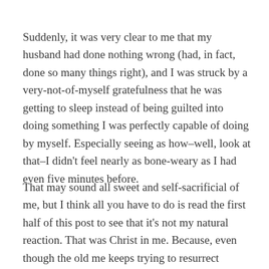Suddenly, it was very clear to me that my husband had done nothing wrong (had, in fact, done so many things right), and I was struck by a very-not-of-myself gratefulness that he was getting to sleep instead of being guilted into doing something I was perfectly capable of doing by myself. Especially seeing as how–well, look at that–I didn't feel nearly as bone-weary as I had even five minutes before.
That may sound all sweet and self-sacrificial of me, but I think all you have to do is read the first half of this post to see that it's not my natural reaction. That was Christ in me. Because, even though the old me keeps trying to resurrect herself